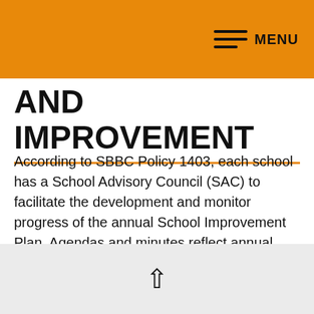MENU
AND IMPROVEMENT
According to SBBC Policy 1403, each school has a School Advisory Council (SAC) to facilitate the development and monitor progress of the annual School Improvement Plan. Agendas and minutes reflect annual needs assessment, SIP monitoring, and allocation of Accountability Funds.
↑